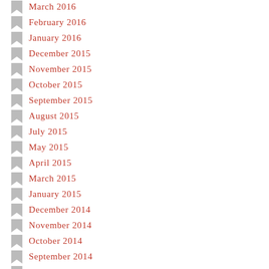March 2016
February 2016
January 2016
December 2015
November 2015
October 2015
September 2015
August 2015
July 2015
May 2015
April 2015
March 2015
January 2015
December 2014
November 2014
October 2014
September 2014
August 2014
July 2014